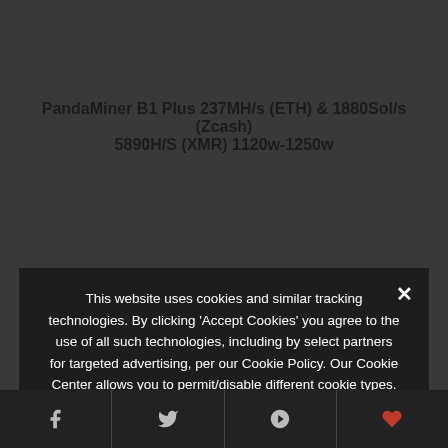PandaMiner B1 Plus 237MH/s (ETH) & 1880Sol/s (Zcash) 5890H/S (XMR) 1120w-1250w
This website uses cookies and similar tracking technologies. By clicking 'Accept Cookies' you agree to the use of all such technologies, including by select partners for targeted advertising, per our Cookie Policy. Our Cookie Center allows you to permit/disable different cookie types. By continuing without clicking 'Accept Cookies' or changing your settings, you are consenting to receive all non-targeting cookies.
Privacy Preferences
I Agree
The only way you can purchase it is by using bitcoin (unless you live in China or from... the reasons why some people opted for the cryptocurrency hit the right...